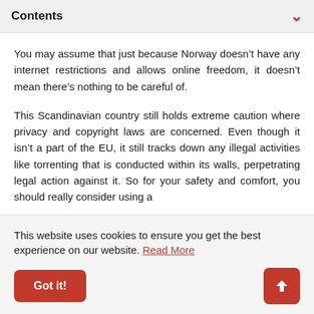Contents
You may assume that just because Norway doesn’t have any internet restrictions and allows online freedom, it doesn’t mean there’s nothing to be careful of.
This Scandinavian country still holds extreme caution where privacy and copyright laws are concerned. Even though it isn’t a part of the EU, it still tracks down any illegal activities like torrenting that is conducted within its walls, perpetrating legal action against it. So for your safety and comfort, you should really consider using a Norway VPN.
This website uses cookies to ensure you get the best experience on our website. Read More
Got it!